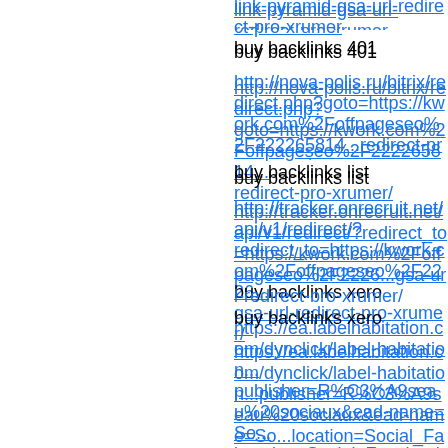link-pyramid-gsa-url-redirect-pro-xrumer (link, truncated)
buy backlinks 401
http://nova-polis.ru/bitrix/redirect.php?goto=https://kwork.com%2Foffpageseo%2F22265814... redirect-pro-xrumer/
buy backlinks list
http://tracker.onrecruit.net/api/v1/redirect/?redirect_to=https://kwork.com%2Foffpageseo%2F2226... gsa-url-redirect-pro-xrumer/
buy backlinks xero
https://ea.labelhabitation.com/dynclick/label-habitation...publisher=R%C3%A9seau%20sociaux&ead-name=So...location=Social_Facebook&ead-creative=TV%20SPO...creativetype=TV%20SPOT&eurl=kwork.com%2Foffp...link-pyramid-gsa-url-redirect-pro-xrumer%2F
buy backlinks forum
http://google.co.zm/url?sa=t&url=https://kwork.com/of...pyramid-gsa-url-redirect-pro-xrumer
how much to buy backlinks